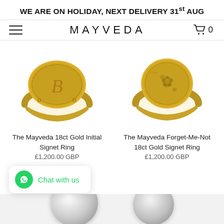WE ARE ON HOLIDAY, NEXT DELIVERY 31st AUG
[Figure (screenshot): MAYVEDA website navigation bar with hamburger menu icon on left, MAYVEDA logo in center, and shopping cart icon with 0 on right]
[Figure (photo): The Mayveda 18ct Gold Initial Signet Ring - yellow gold signet ring with engraved initial on oval face with decorative floral band]
The Mayveda 18ct Gold Initial Signet Ring
£1,200.00 GBP
[Figure (photo): The Mayveda Forget-Me-Not 18ct Gold Signet Ring - yellow gold signet ring with engraved forget-me-not floral design on round face]
The Mayveda Forget-Me-Not 18ct Gold Signet Ring
£1,200.00 GBP
[Figure (photo): Partial view of a silver/white gold ring at bottom of page]
Chat with us